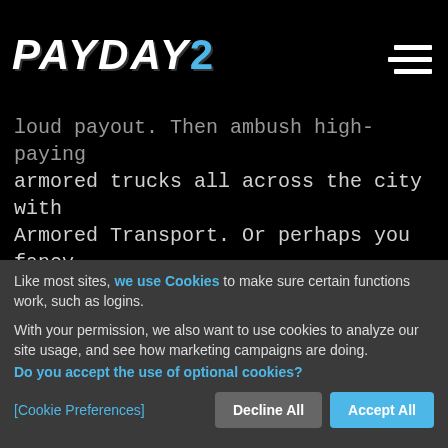PAYDAY 2
loud payout. Then ambush high-paying armored trucks all across the city with Armored Transport. Or perhaps you fancy taking down the ruthless Russian mob-boss, the Commissar, in Hotline Miami? Or take on the biggest challenge yet, and roll downtown to crack the Benevolent Bank – or try stealing the Diamond from the McKendrick museum in The Diamond heist.
Like most sites, we use Cookies to make sure certain functions work, such as logins.
With your permission, we also want to use cookies to analyze our site usage, and see how marketing campaigns are doing. Do you accept the use of optional cookies?
[Cookie Preferences]
Decline All
Accept All